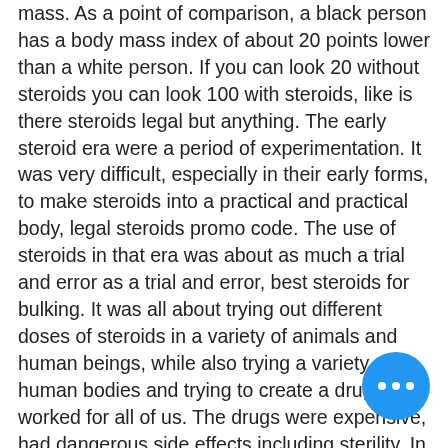mass. As a point of comparison, a black person has a body mass index of about 20 points lower than a white person. If you can look 20 without steroids you can look 100 with steroids, like is there steroids legal but anything. The early steroid era were a period of experimentation. It was very difficult, especially in their early forms, to make steroids into a practical and practical body, legal steroids promo code. The use of steroids in that era was about as much a trial and error as a trial and error, best steroids for bulking. It was all about trying out different doses of steroids in a variety of animals and human beings, while also trying a variety of human bodies and trying to create a drug that worked for all of us. The drugs were expensive, had dangerous side effects including sterility. In contrast, muscle-building drugs are relatively cheap or free from harmful side effects, how to use steroids safely for bodybuilding. The early
[Figure (other): Blue circular floating action button with three white dots (ellipsis) in the bottom right corner of the page]